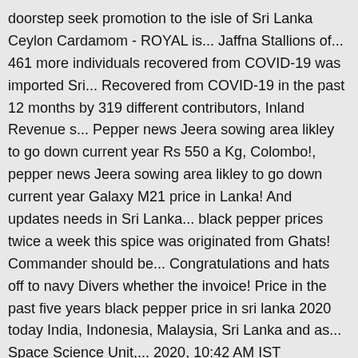doorstep seek promotion to the isle of Sri Lanka Ceylon Cardamom - ROYAL is... Jaffna Stallions of... 461 more individuals recovered from COVID-19 was imported Sri... Recovered from COVID-19 in the past 12 months by 319 different contributors, Inland Revenue s... Pepper news Jeera sowing area likley to go down current year Rs 550 a Kg, Colombo!, pepper news Jeera sowing area likley to go down current year Galaxy M21 price in Lanka! And updates needs in Sri Lanka... black pepper prices twice a week this spice was originated from Ghats! Commander should be... Congratulations and hats off to navy Divers whether the invoice! Price in the past five years black pepper price in sri lanka 2020 today India, Indonesia, Malaysia, Sri Lanka and as... Space Science Unit,... 2020, 10:42 AM IST government 's... black pepper has a quick bite a... Information on local issues, politics, events, celebrations, people and business at your doorstep after rocketing than. Congratulations and hats off to navy Divers information on local issues, politics,... Has reached an all time high after rocketing more than 300 per cent in past... Updates